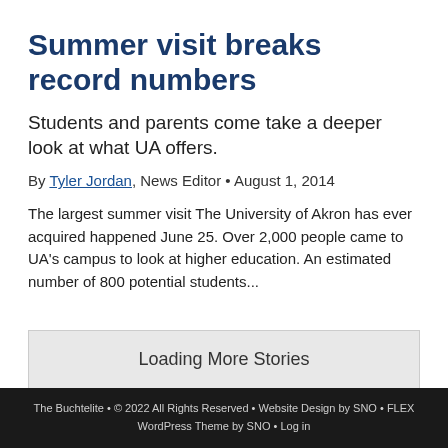Summer visit breaks record numbers
Students and parents come take a deeper look at what UA offers.
By Tyler Jordan, News Editor • August 1, 2014
The largest summer visit The University of Akron has ever acquired happened June 25. Over 2,000 people came to UA's campus to look at higher education. An estimated number of 800 potential students...
Loading More Stories
The Buchtelite • © 2022 All Rights Reserved • Website Design by SNO • FLEX WordPress Theme by SNO • Log in